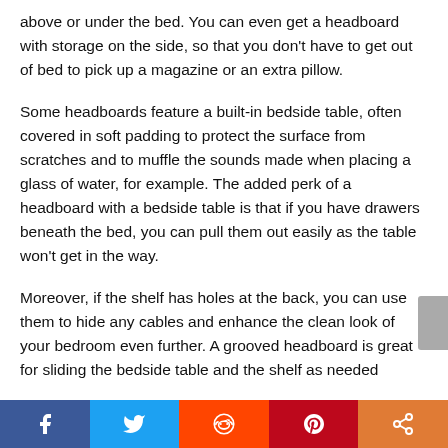above or under the bed. You can even get a headboard with storage on the side, so that you don’t have to get out of bed to pick up a magazine or an extra pillow.
Some headboards feature a built-in bedside table, often covered in soft padding to protect the surface from scratches and to muffle the sounds made when placing a glass of water, for example. The added perk of a headboard with a bedside table is that if you have drawers beneath the bed, you can pull them out easily as the table won’t get in the way.
Moreover, if the shelf has holes at the back, you can use them to hide any cables and enhance the clean look of your bedroom even further. A grooved headboard is great for sliding the bedside table and the shelf as needed
[Figure (infographic): Social sharing bar with Facebook, Twitter, Reddit, Pinterest, and share buttons]